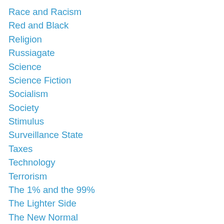Race and Racism
Red and Black
Religion
Russiagate
Science
Science Fiction
Socialism
Society
Stimulus
Surveillance State
Taxes
Technology
Terrorism
The 1% and the 99%
The Lighter Side
The New Normal
The Passing Scene
The Unofficial Rules
Unemployment
Unitarian Universalism